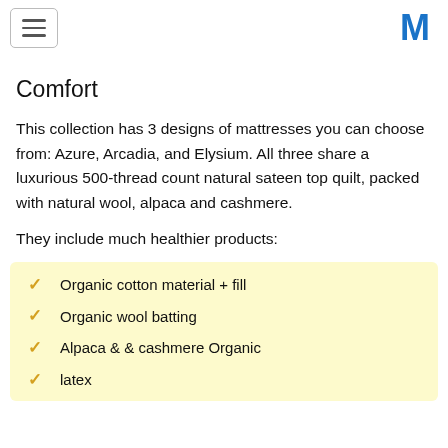M (logo/navigation header)
...  (truncated line)  ... Comfort
Comfort
This collection has 3 designs of mattresses you can choose from: Azure, Arcadia, and Elysium. All three share a luxurious 500-thread count natural sateen top quilt, packed with natural wool, alpaca and cashmere.
They include much healthier products:
Organic cotton material + fill
Organic wool batting
Alpaca & & cashmere Organic
latex